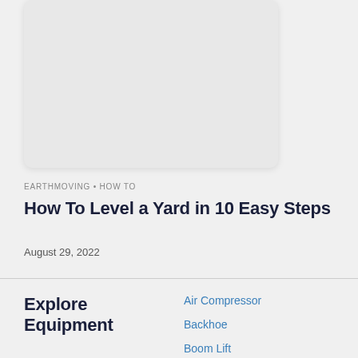[Figure (other): Placeholder image card with rounded corners and light gray background]
EARTHMOVING • HOW TO
How To Level a Yard in 10 Easy Steps
August 29, 2022
Explore Equipment
Air Compressor
Backhoe
Boom Lift